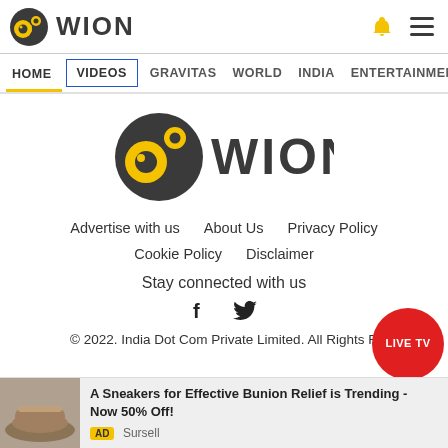[Figure (logo): WION logo in header — dark circular icon with yellow and face design, followed by WION text in dark gray]
HOME  VIDEOS  GRAVITAS  WORLD  INDIA  ENTERTAINMENT  SPORTS
[Figure (logo): WION logo centered large — dark circular icon with yellow face design, followed by WION text in dark gray]
Advertise with us   About Us   Privacy Policy
Cookie Policy   Disclaimer
Stay connected with us
[Figure (illustration): Social media icons — Facebook f and Twitter bird icons]
© 2022. India Dot Com Private Limited. All Rights R...
[Figure (illustration): Red circular LIVE TV button overlay in bottom right]
A Sneakers for Effective Bunion Relief is Trending - Now 50% Off!
AD Sursell